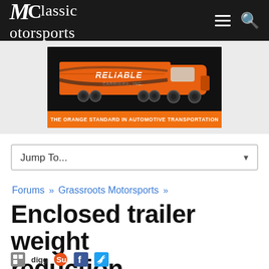Classic Motorsports
[Figure (photo): Orange Reliable Carriers semi-truck advertisement. Text reads: THE ORANGE STANDARD IN AUTOMOTIVE TRANSPORTATION]
Jump To...
Forums » Grassroots Motorsports »
Enclosed trailer weight reduction
Social share icons: share, digg, stumbleupon, facebook, twitter